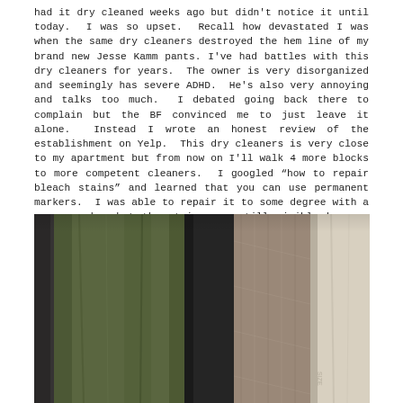had it dry cleaned weeks ago but didn't notice it until today.  I was so upset.  Recall how devastated I was when the same dry cleaners destroyed the hem line of my brand new Jesse Kamm pants. I've had battles with this dry cleaners for years.  The owner is very disorganized and seemingly has severe ADHD.  He's also very annoying and talks too much.  I debated going back there to complain but the BF convinced me to just leave it alone.  Instead I wrote an honest review of the establishment on Yelp.  This dry cleaners is very close to my apartment but from now on I'll walk 4 more blocks to more competent cleaners.  I googled "how to repair bleach stains" and learned that you can use permanent markers.  I was able to repair it to some degree with a green marker but the stains are still visible because the colors don't match exactly.  SAD!
[Figure (photo): Photo of clothing items hanging on a rack or in a closet. The garments visible include a dark garment on the left, an olive/army green garment in the center, a dark background item, a pinkish-beige striped or textured garment, and a light cream/white garment on the right.]